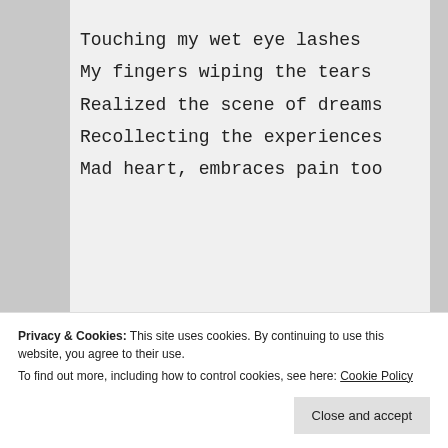Touching my wet eye lashes
My fingers wiping the tears
Realized the scene of dreams
Recollecting the experiences
Mad heart, embraces pain too
Life is a cell with mixed emotions of thornful pains
Privacy & Cookies: This site uses cookies. By continuing to use this website, you agree to their use. To find out more, including how to control cookies, see here: Cookie Policy